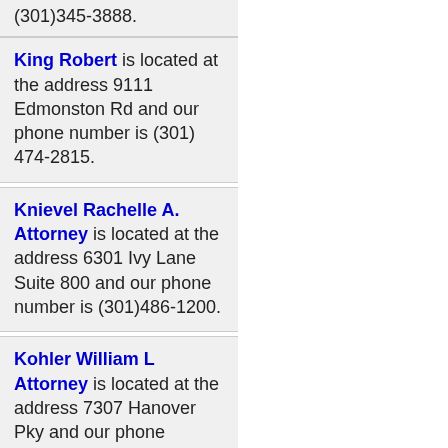(301)345-3888.
King Robert is located at the address 9111 Edmonston Rd and our phone number is (301) 474-2815.
Knievel Rachelle A. Attorney is located at the address 6301 Ivy Lane Suite 800 and our phone number is (301)486-1200.
Kohler William L Attorney is located at the address 7307 Hanover Pky and our phone number is (301) 982-3100.
Koonz Joseph H Jr is located at the address 6301 Ivy Ln Suite 700 and our phone number is (301)345-5700.
Koonz Mc Kenney Johnson is located at the address 8957...